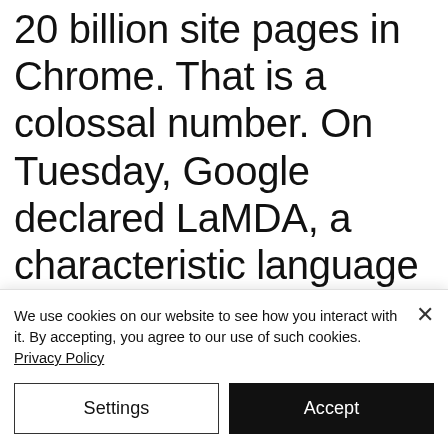20 billion site pages in Chrome. That is a colossal number. On Tuesday, Google declared LaMDA, a characteristic language stage that is as yet in the innovative work stage inside the organization. A recreation of a discussion with LaMDA going about
We use cookies on our website to see how you interact with it. By accepting, you agree to our use of such cookies. Privacy Policy
Settings
Accept